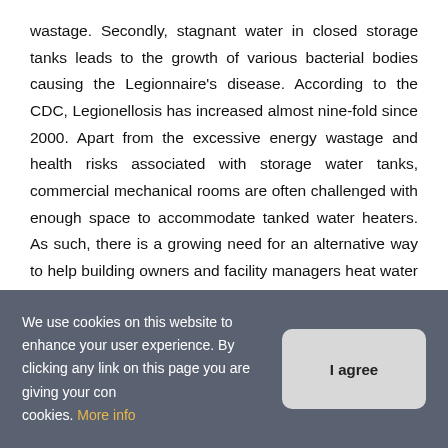wastage. Secondly, stagnant water in closed storage tanks leads to the growth of various bacterial bodies causing the Legionnaire's disease. According to the CDC, Legionellosis has increased almost nine-fold since 2000. Apart from the excessive energy wastage and health risks associated with storage water tanks, commercial mechanical rooms are often challenged with enough space to accommodate tanked water heaters. As such, there is a growing need for an alternative way to help building owners and facility managers heat water cost-effectively and seamlessly.

Addressing this requirement is Intellihot, one of the leading manufacturers of commercial tankless water heaters, which is
We use cookies on this website to enhance your user experience. By clicking any link on this page you are giving your consent for us to set cookies. More info